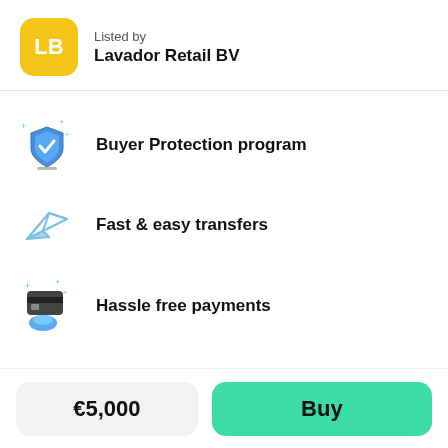Listed by
Lavador Retail BV
Buyer Protection program
Fast & easy transfers
Hassle free payments
€5,000
Buy